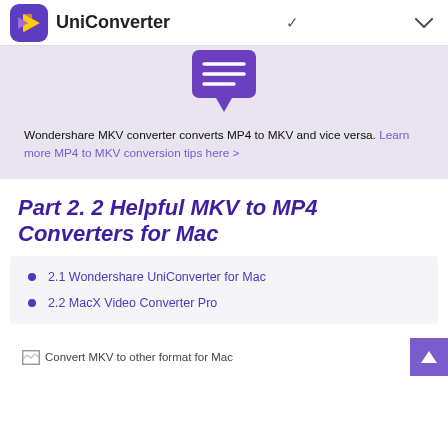UniConverter
[Figure (illustration): Speech bubble icon with horizontal lines inside, purple color, on light purple background]
Wondershare MKV converter converts MP4 to MKV and vice versa. Learn more MP4 to MKV conversion tips here >
Part 2. 2 Helpful MKV to MP4 Converters for Mac
2.1 Wondershare UniConverter for Mac
2.2 MacX Video Converter Pro
[Figure (illustration): Convert MKV to other format for Mac image placeholder]